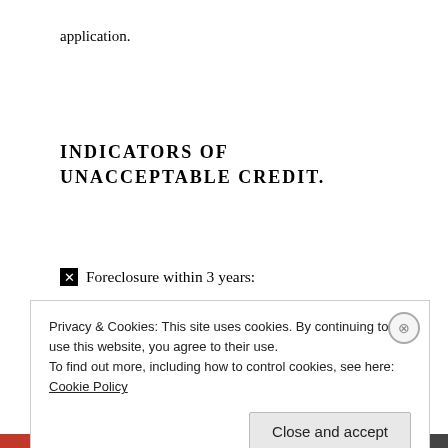application.
INDICATORS OF UNACCEPTABLE CREDIT.
☒ Foreclosure within 3 years:
Privacy & Cookies: This site uses cookies. By continuing to use this website, you agree to their use.
To find out more, including how to control cookies, see here:
Cookie Policy
Close and accept